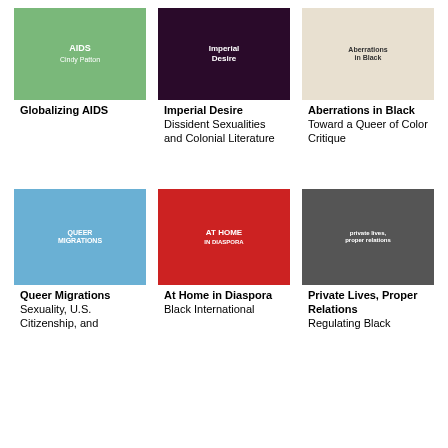[Figure (photo): Book cover: Globalizing AIDS, green background with text]
[Figure (photo): Book cover: Imperial Desire, dark purple/black with abstract imagery]
[Figure (photo): Book cover: Aberrations in Black, light/cream with text]
Globalizing AIDS
Imperial Desire
Dissident Sexualities and Colonial Literature
Aberrations in Black
Toward a Queer of Color Critique
[Figure (photo): Book cover: Queer Migrations, blue background with grid pattern]
[Figure (photo): Book cover: At Home in Diaspora, red background with white arc]
[Figure (photo): Book cover: Private Lives, Proper Relations, black and white photo]
Queer Migrations
Sexuality, U.S. Citizenship, and
At Home in Diaspora
Black International
Private Lives, Proper Relations
Regulating Black